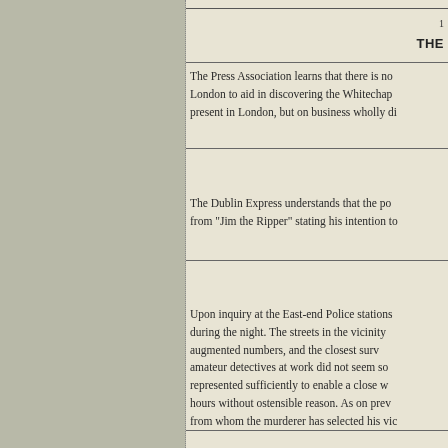THE
The Press Association learns that there is no London to aid in discovering the Whitechap present in London, but on business wholly di
The Dublin Express understands that the po from "Jim the Ripper" stating his intention to
Upon inquiry at the East-end Police stations during the night. The streets in the vicinity augmented numbers, and the closest surv amateur detectives at work did not seem so represented sufficiently to enable a close w hours without ostensible reason. As on prev from whom the murderer has selected his vic